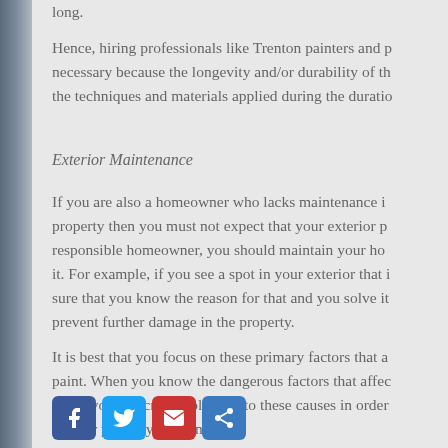long.
Hence, hiring professionals like Trenton painters and p... necessary because the longevity and/or durability of th... the techniques and materials applied during the duratio...
Exterior Maintenance
If you are also a homeowner who lacks maintenance i... property then you must not expect that your exterior p... responsible homeowner, you should maintain your ho... it. For example, if you see a spot in your exterior that ... sure that you know the reason for that and you solve i... prevent further damage in the property.
It is best that you focus on these primary factors that a... paint. When you know the dangerous factors that affe... paint, you can create solutions to these causes in order... of your property last longer.
[Figure (other): Social media sharing icons: Facebook, Twitter, Email, Share]